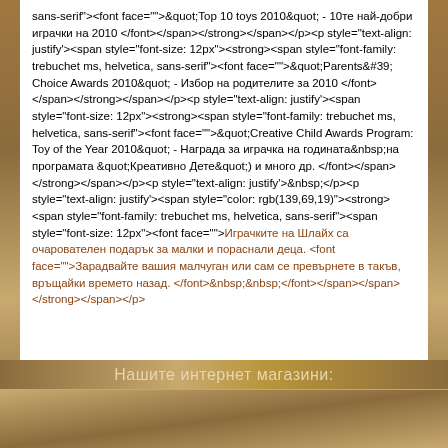sans-serif"><font face="">&quot;Top 10 toys 2010&quot; - 10те най-добри играчки на 2010 </font></span></strong></span></p><p style="text-align: justify"><span style="font-size: 12px"><strong><span style="font-family: trebuchet ms, helvetica, sans-serif"><font face="">&quot;Parents&#39; Choice Awards 2010&quot; - Избор на родителите за 2010 </font></span></strong></span></p><p style="text-align: justify"><span style="font-size: 12px"><strong><span style="font-family: trebuchet ms, helvetica, sans-serif"><font face="">&quot;Creative Child Awards Program: Toy of the Year 2010&quot; - Награда за играчка на годината&nbsp;на програмата &quot;Креативно Дете&quot;) и много др. </font></span></strong></span></p><p style="text-align: justify">&nbsp;</p><p style="text-align: justify"><span style="color: rgb(139,69,19)"><strong><span style="font-family: trebuchet ms, helvetica, sans-serif"><span style="font-size: 12px"><font face="">Играчките на Шлайх са очарователен подарък за малки и пораснали деца. <font face="">Зарадвайте вашия малчуган или сам се превърнете в такъв, връщайки времето назад. </font>&nbsp;&nbsp;</font></span></span></strong></span></p>
Нашите интернет магазини: